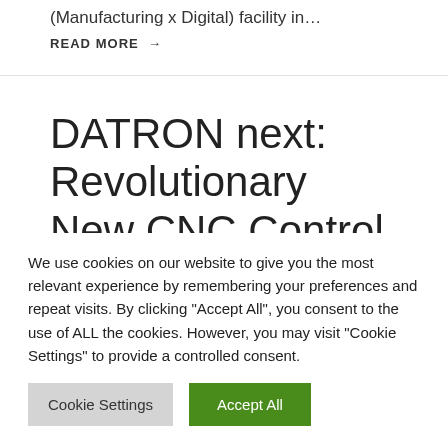(Manufacturing x Digital) facility in…
READ MORE →
DATRON next: Revolutionary New CNC Control Software
We use cookies on our website to give you the most relevant experience by remembering your preferences and repeat visits. By clicking "Accept All", you consent to the use of ALL the cookies. However, you may visit "Cookie Settings" to provide a controlled consent.
Cookie Settings
Accept All